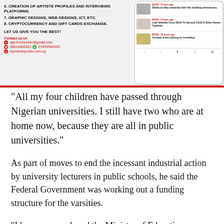[Figure (screenshot): Advertisement banner for Aprokopublic.com.ng showing services list, contact information with email and phone numbers, and a smartphone showing a news app interface with headlines.]
6. CREATION OF ARTISTE PROFILES AND INTERVIEWS PLATFORMS.
7. GRAPHIC DESIGNS, WEB DESIGNS, ICT, ETC.
8. CRYPTOCURRENCY AND GIFT CARDS EXCHANGE.
LET US GIVE YOU THE BEST!
Contact us on
aprokorepublic@gmail.com
09016802821  07059964320
Aprokorepublic.com.ng
“All my four children have passed through Nigerian universities. I still have two who are at home now, because they are all in public universities.”
As part of moves to end the incessant industrial action by university lecturers in public schools, he said the Federal Government was working out a funding structure for the varsities.
“I have proposed, and the Minister of Education (Adamu Adamu) will continue discussing this with Mr President, a new scheme in which universities have a different way